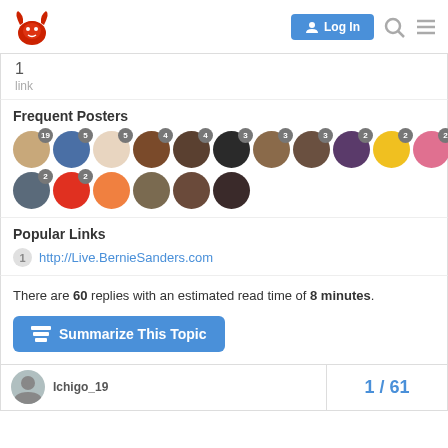[Figure (screenshot): Forum website navigation bar with red bull logo on the left and Log In button, search icon, and menu icon on the right]
1
link
Frequent Posters
[Figure (infographic): Grid of circular user avatar images with numbered badges showing post counts: 19, 5, 5, 4, 4, 3, 3, 3, 2, 2, 2, 2, 2, 2, and more avatars without visible numbers]
Popular Links
http://Live.BernieSanders.com
There are 60 replies with an estimated read time of 8 minutes.
Summarize This Topic
Ichigo_19
1 / 61